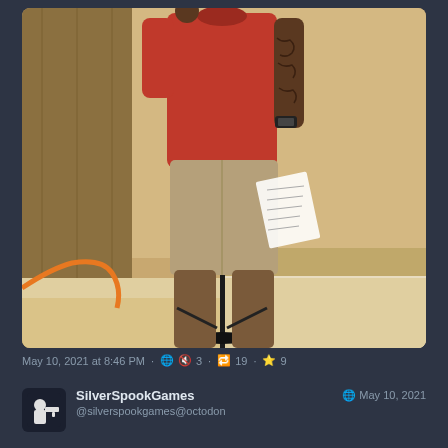[Figure (photo): A man wearing a red t-shirt and khaki shorts stands at a microphone stand holding papers in his right hand. He has tattoos on his right arm and is wearing a black watch. The background shows a wooden-paneled wall and tile floor. The photo appears to be taken at a public meeting or event.]
May 10, 2021 at 8:46 PM · 🌐 🔇 3 · 🔁 19 · ⭐ 9
SilverSpookGames
@silverspookgames@octodon
May 10, 2021